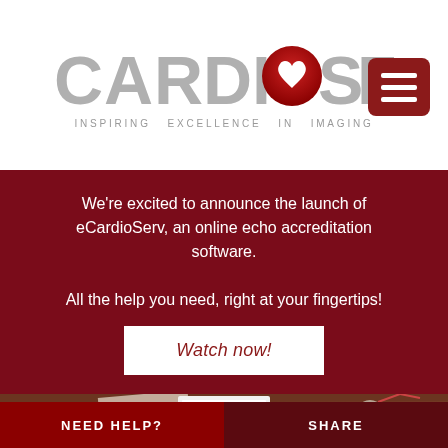[Figure (logo): CardioServ logo with heart icon and tagline INSPIRING EXCELLENCE IN IMAGING]
[Figure (other): Hamburger menu button (dark red rounded square with three white horizontal bars)]
We're excited to announce the launch of eCardioServ, an online echo accreditation software.

All the help you need, right at your fingertips!
Watch now!
[Figure (photo): Desk photo showing papers, pen, eCardioServ branded box, and a pendant on wood surface]
NEED HELP?
SHARE